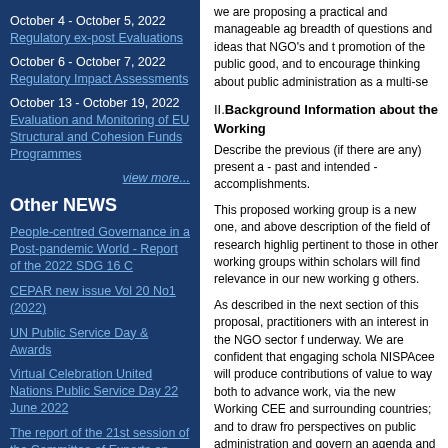October 4 - October 5, 2022
Regulatory ex-post Evaluations
October 6 - October 7, 2022
Regulatory Impact Assessments
October 13 - October 19, 2022
Evaluation and Monitoring of EU Structural and Cohesion Funds Programmes
view more...
Other NEWS
People-centred Governance in a Post-pandemic World - Report of the 2022 SDG 16 C
CEPAR new issue Vol 20 No1 (2022)
UN Public Service Day & Awards
Virtual Celebration United Nations Public Service Day 22 June 2022
The report of the 21st session of the Committee of Experts on Public Administrat
Nations in Transit 2022: From
we are proposing a practical and manageable ag breadth of questions and ideas that NGO's and t promotion of the public good, and to encourage thinking about public administration as a multi-se
II.Background Information about the Working
Describe the previous (if there are any) present a - past and intended - accomplishments.
This proposed working group is a new one, and above description of the field of research highlig pertinent to those in other working groups within scholars will find relevance in our new working g others.
As described in the next section of this proposal, practitioners with an interest in the NGO sector f underway. We are confident that engaging schola NISPAcee will produce contributions of value to way both to advance work, via the new Working CEE and surrounding countries; and to draw fro perspectives on public administration and govern an agenda and for research are described below
III.Goals and Objectives
Identify the goals and objectives. Define the pro activities. Describe the stage of a research in th describe the importance of your working group Identify benefits for the practice and scholarship region and for NISPAcee that will be realized as